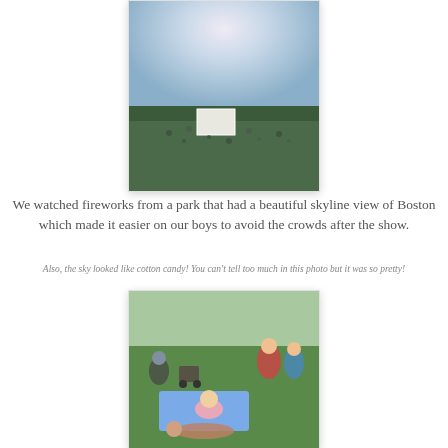[Figure (photo): Outdoor evening scene at a park with a large crowd watching a projection screen, blue-pink dusk sky overhead]
We watched fireworks from a park that had a beautiful skyline view of Boston which made it easier on our boys to avoid the crowds after the show.
Also, the sky looked like cotton candy! You can't tell too much in this photo but it was so pretty!
[Figure (photo): Outdoor daytime park scene with families on the grass, a baby in a pink shirt crawling on a blue blanket in the foreground, adults resting nearby]